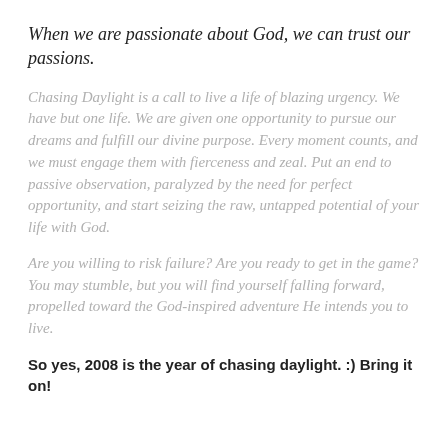When we are passionate about God, we can trust our passions.
Chasing Daylight is a call to live a life of blazing urgency. We have but one life. We are given one opportunity to pursue our dreams and fulfill our divine purpose. Every moment counts, and we must engage them with fierceness and zeal. Put an end to passive observation, paralyzed by the need for perfect opportunity, and start seizing the raw, untapped potential of your life with God.
Are you willing to risk failure? Are you ready to get in the game? You may stumble, but you will find yourself falling forward, propelled toward the God-inspired adventure He intends you to live.
So yes, 2008 is the year of chasing daylight. :) Bring it on!